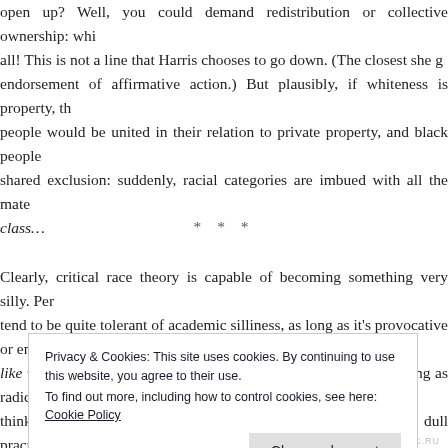open up? Well, you could demand redistribution or collective ownership: whi all! This is not a line that Harris chooses to go down. (The closest she g endorsement of affirmative action.) But plausibly, if whiteness is property, th people would be united in their relation to private property, and black people shared exclusion: suddenly, racial categories are imbued with all the mate class…
* * *
Clearly, critical race theory is capable of becoming something very silly. Per tend to be quite tolerant of academic silliness, as long as it's provocative or en like weird essays about the semiotics of paving stones or spelunking as radical think it would be a terrible shame to reduce all thought to dead dull practicality. you have to sift through a lot of bullshit, but that's where the flowers grow. An at times, provocative and engaging. Its best feature is probably the one that c m 't in sc
Privacy & Cookies: This site uses cookies. By continuing to use this website, you agree to their use.
To find out more, including how to control cookies, see here: Cookie Policy
Close and accept